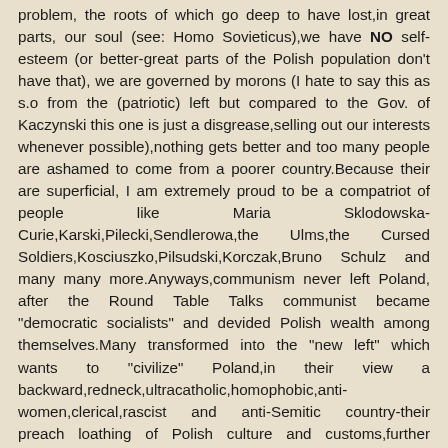problem, the roots of which go deep to have lost,in great parts, our soul (see: Homo Sovieticus),we have NO self-esteem (or better-great parts of the Polish population don't have that), we are governed by morons (I hate to say this as s.o from the (patriotic) left but compared to the Gov. of Kaczynski this one is just a disgrease,selling out our interests whenever possible),nothing gets better and too many people are ashamed to come from a poorer country.Because their are superficial, I am extremely proud to be a compatriot of people like Maria Sklodowska-Curie,Karski,Pilecki,Sendlerowa,the Ulms,the Cursed Soldiers,Kosciuszko,Pilsudski,Korczak,Bruno Schulz and many many more.Anyways,communism never left Poland, after the Round Table Talks communist became "democratic socialists" and devided Polish wealth among themselves.Many transformed into the "new left" which wants to "civilize" Poland,in their view a backward,redneck,ultracatholic,homophobic,anti-women,clerical,rascist and anti-Semitic country-their preach loathing of Polish culture and customs,further lowering Polish self-esteem.We also need a de-cultural-marxisation along with a strong leadership. It is possible, look at Hungary.